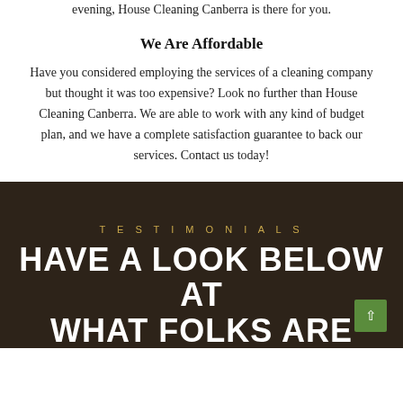evening, House Cleaning Canberra is there for you.
We Are Affordable
Have you considered employing the services of a cleaning company but thought it was too expensive? Look no further than House Cleaning Canberra. We are able to work with any kind of budget plan, and we have a complete satisfaction guarantee to back our services. Contact us today!
TESTIMONIALS
HAVE A LOOK BELOW AT WHAT FOLKS ARE